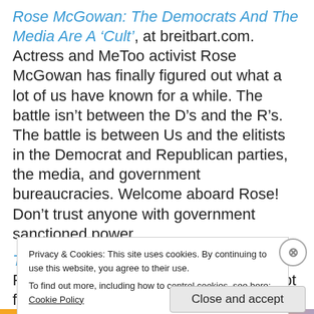Rose McGowan: The Democrats And The Media Are A 'Cult', at breitbart.com. Actress and MeToo activist Rose McGowan has finally figured out what a lot of us have known for a while. The battle isn't between the D's and the R's. The battle is between Us and the elitists in the Democrat and Republican parties, the media, and government bureaucracies. Welcome aboard Rose! Don't trust anyone with government sanctioned power.
The Real Climate Change Deniers, by Paul Dr Driessen, at cfact.org. Excerpt from the article:
Privacy & Cookies: This site uses cookies. By continuing to use this website, you agree to their use.
To find out more, including how to control cookies, see here: Cookie Policy